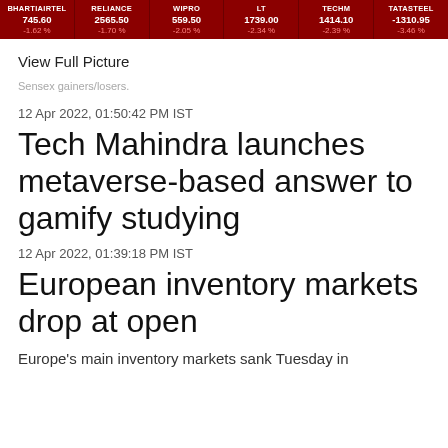[Figure (infographic): Dark red ticker bar showing Indian stock prices: BHARTIAIRTEL 745.60 -1.62%, RELIANCE 2565.50 -1.70%, WIPRO 559.50 -2.05%, LT 1739.00 -2.34%, TECHM 1414.10 -2.39%, TATASTEEL -1310.95 -3.46%]
View Full Picture
Sensex gainers/losers.
12 Apr 2022, 01:50:42 PM IST
Tech Mahindra launches metaverse-based answer to gamify studying
12 Apr 2022, 01:39:18 PM IST
European inventory markets drop at open
Europe's main inventory markets sank Tuesday in